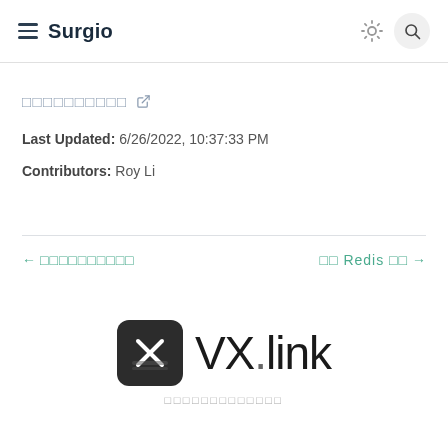Surgio
□□□□□□□□□□
Last Updated: 6/26/2022, 10:37:33 PM
Contributors: Roy Li
← □□□□□□□□□□
□□ Redis □□ →
[Figure (logo): VX.link logo: dark square box with X mark icon on left, 'VX.link' wordmark on right, subtitle text below]